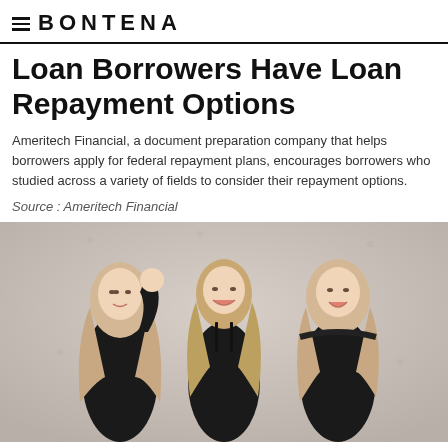≡ BONTENA
Loan Borrowers Have Loan Repayment Options
Ameritech Financial, a document preparation company that helps borrowers apply for federal repayment plans, encourages borrowers who studied across a variety of fields to consider their repayment options.
Source : Ameritech Financial
[Figure (photo): Three young blonde women dressed in black outfits standing against a light concrete/beige wall, smiling and laughing.]